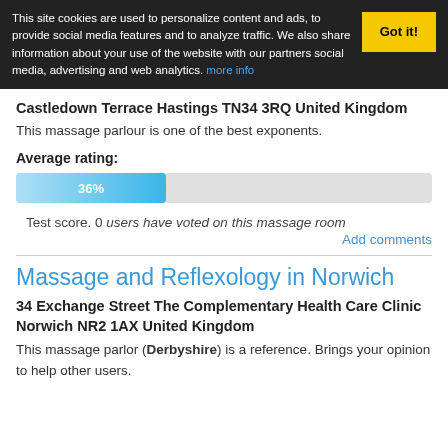This site cookies are used to personalize content and ads, to provide social media features and to analyze traffic. We also share information about your use of the website with our partners social media, advertising and web analytics. more info
Got it!
Castledown Terrace Hastings TN34 3RQ United Kingdom
This massage parlour is one of the best exponents.
Average rating:
[Figure (bar-chart): Average rating bar]
Test score. 0 users have voted on this massage room
Add comments
Massage and Reflexology in Norwich
34 Exchange Street The Complementary Health Care Clinic Norwich NR2 1AX United Kingdom
This massage parlor (Derbyshire) is a reference. Brings your opinion to help other users.